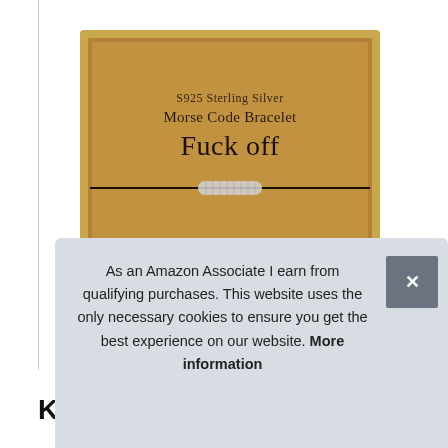[Figure (photo): Amazon product photo: a gift box containing a Morse Code Bracelet on a brown kraft card. The card reads 'S925 Sterling Silver / Morse Code Bracelet / Fuck off' with a thin black cord bracelet and silver beads across the middle. Below are morse code dots and dashes, and text reading 'HANDMADE ITEM'.]
As an Amazon Associate I earn from qualifying purchases. This website uses the only necessary cookies to ensure you get the best experience on our website. More information
KG